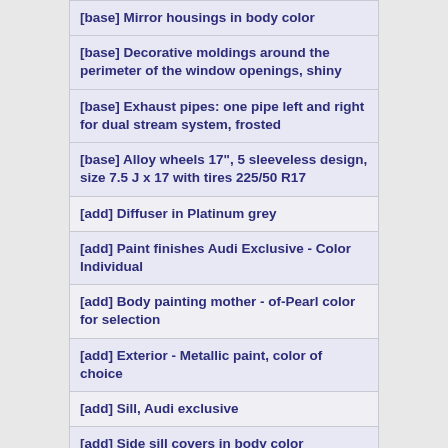[base] Mirror housings in body color
[base] Decorative moldings around the perimeter of the window openings, shiny
[base] Exhaust pipes: one pipe left and right for dual stream system, frosted
[base] Alloy wheels 17", 5 sleeveless design, size 7.5 J x 17 with tires 225/50 R17
[add] Diffuser in Platinum grey
[add] Paint finishes Audi Exclusive - Color Individual
[add] Body painting mother - of-Pearl color for selection
[add] Exterior - Metallic paint, color of choice
[add] Sill, Audi exclusive
[add] Side sill covers in body color
[add] S line lettering on the front wings and the sills